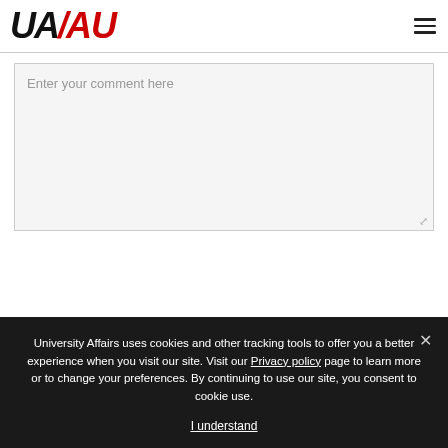UA/AU logo and hamburger menu
Enter your comment here
University Affairs uses cookies and other tracking tools to offer you a better experience when you visit our site. Visit our Privacy policy page to learn more or to change your preferences. By continuing to use our site, you consent to cookie use.
I understand